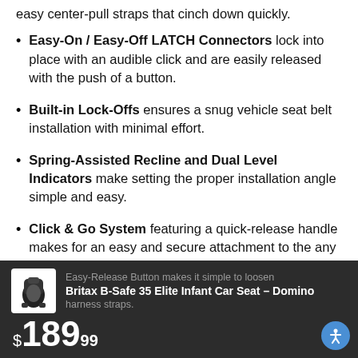easy center-pull straps that cinch down quickly.
Easy-On / Easy-Off LATCH Connectors lock into place with an audible click and are easily released with the push of a button.
Built-in Lock-Offs ensures a snug vehicle seat belt installation with minimal effort.
Spring-Assisted Recline and Dual Level Indicators make setting the proper installation angle simple and easy.
Click & Go System featuring a quick-release handle makes for an easy and secure attachment to the any Britax stroller.
Britax B-Safe 35 Elite Infant Car Seat - Domino $189.99